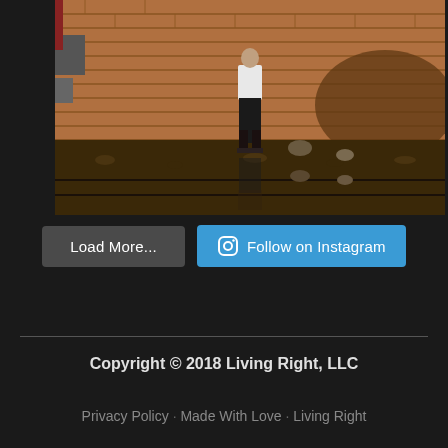[Figure (photo): A man in a white shirt and black pants standing against a brick wall outdoors. The ground is gravel/dirt. There appears to be a reflection or shadow beneath him.]
Load More...
Follow on Instagram
Copyright © 2018 Living Right, LLC
Privacy Policy · Made With Love · Living Right